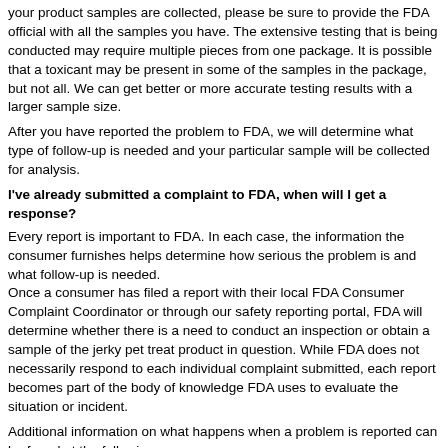your product samples are collected, please be sure to provide the FDA official with all the samples you have. The extensive testing that is being conducted may require multiple pieces from one package. It is possible that a toxicant may be present in some of the samples in the package, but not all. We can get better or more accurate testing results with a larger sample size.
After you have reported the problem to FDA, we will determine what type of follow-up is needed and your particular sample will be collected for analysis.
I've already submitted a complaint to FDA, when will I get a response?
Every report is important to FDA. In each case, the information the consumer furnishes helps determine how serious the problem is and what follow-up is needed. Once a consumer has filed a report with their local FDA Consumer Complaint Coordinator or through our safety reporting portal, FDA will determine whether there is a need to conduct an inspection or obtain a sample of the jerky pet treat product in question. While FDA does not necessarily respond to each individual complaint submitted, each report becomes part of the body of knowledge FDA uses to evaluate the situation or incident.
Additional information on what happens when a problem is reported can be found at the following link:http://www.fda.gov/Safety/ReportaProblem/QuestionsandAnswersProblemRep...
I reported a complaint to the FDA, but my sample of jerky pet treat was never tested. Can I have my sample tested by a private lab?
Even though your particular sample may not be tested, your report to FDA is important. While a sample of the product may be collected directly from the consumer, in many cases a product from the same lot and code will be collected from retailers, wholesalers or the manufacturer.
FDA is working with various animal health diagnostic laboratories across the U.S. to determine why these products are associated with illness in dogs. You may have your treat tested by a private laboratory; however, it may be costly to have numerous tests conducted on your sample. Please know that FDA continues to devote time, energy and resources at multiple levels of the agency to investigate the cause of the reported illnesses. We are hopeful that our diligent investigation and scientific collaboration will help understand the source of the pet illnesses.